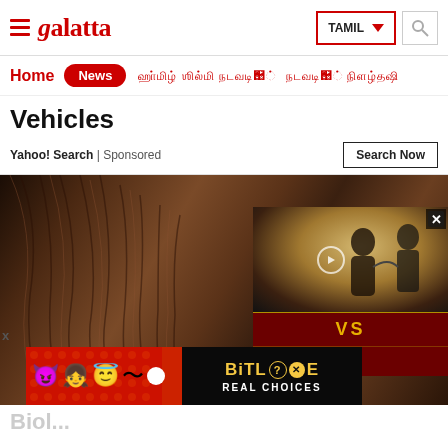Galatta - TAMIL
Home | News | [Tamil nav items]
Vehicles
Yahoo! Search | Sponsored
Search Now
[Figure (screenshot): Main image showing close-up of hair (brown), with a video overlay in the bottom-right showing two people in a dance or theatrical scene. The video overlay has a 'VS' label in gold on dark red background, and a score ':/ 0' below it. A close button (X) is shown on the overlay. An advertisement banner for BitLife 'REAL CHOICES' appears at the bottom of the image area. An X label appears bottom-left.]
Biol...